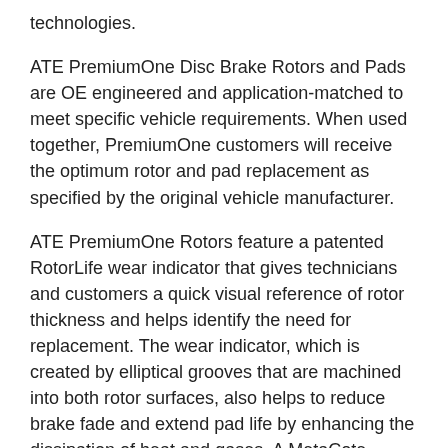technologies.
ATE PremiumOne Disc Brake Rotors and Pads are OE engineered and application-matched to meet specific vehicle requirements. When used together, PremiumOne customers will receive the optimum rotor and pad replacement as specified by the original vehicle manufacturer.
ATE PremiumOne Rotors feature a patented RotorLife wear indicator that gives technicians and customers a quick visual reference of rotor thickness and helps identify the need for replacement. The wear indicator, which is created by elliptical grooves that are machined into both rotor surfaces, also helps to reduce brake fade and extend pad life by enhancing the dissipation of heat and gases. A MetaCote protective coating is applied to help prevent rust and corrosion so the rotors maintain a clean appearance.